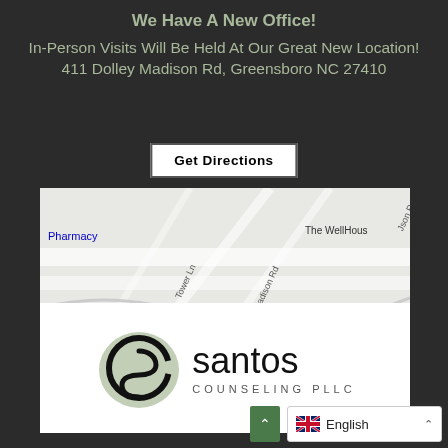We Have A New Office!
In-Person Visits Will Be Held At Our Great New Location!
411 Dolley Madison Rd, Greensboro NC 27410
Get Directions
[Figure (map): A street map showing the area around 411 Dolley Madison Rd, Greensboro NC 27410. Labels visible include: Pharmacy, Tower Ln, Madison Rd, Json Rd, The WellHous]
[Figure (logo): Santos Counseling PLLC logo: a sage green brushstroke circle with a black 'C' and 'S' letterform, next to the text 'santos COUNSELING PLLC']
English